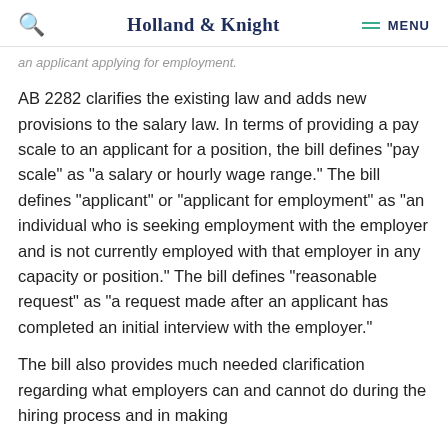Holland & Knight
an applicant applying for employment.
AB 2282 clarifies the existing law and adds new provisions to the salary law. In terms of providing a pay scale to an applicant for a position, the bill defines "pay scale" as "a salary or hourly wage range." The bill defines "applicant" or "applicant for employment" as "an individual who is seeking employment with the employer and is not currently employed with that employer in any capacity or position." The bill defines "reasonable request" as "a request made after an applicant has completed an initial interview with the employer."
The bill also provides much needed clarification regarding what employers can and cannot do during the hiring process and in making